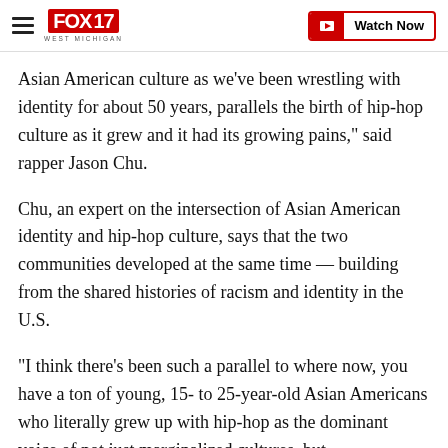FOX 17 WEST MICHIGAN | Watch Now
Asian American culture as we've been wrestling with identity for about 50 years, parallels the birth of hip-hop culture as it grew and it had its growing pains," said rapper Jason Chu.
Chu, an expert on the intersection of Asian American identity and hip-hop culture, says that the two communities developed at the same time — building from the shared histories of racism and identity in the U.S.
"I think there's been such a parallel to where now, you have a ton of young, 15- to 25-year-old Asian Americans who literally grew up with hip-hop as the dominant voice of not just marginalized cultures, but